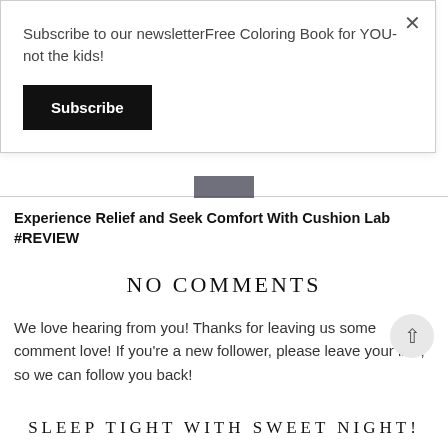Subscribe to our newsletterFree Coloring Book for YOU- not the kids!
Subscribe
[Figure (photo): Small dark thumbnail image strip]
Experience Relief and Seek Comfort With Cushion Lab #REVIEW
NO COMMENTS
We love hearing from you! Thanks for leaving us some comment love! If you're a new follower, please leave your link, so we can follow you back!
SLEEP TIGHT WITH SWEET NIGHT!